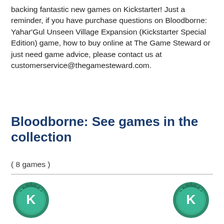backing fantastic new games on Kickstarter! Just a reminder, if you have purchase questions on Bloodborne: Yahar'Gul Unseen Village Expansion (Kickstarter Special Edition) game, how to buy online at The Game Steward or just need game advice, please contact us at customerservice@thegamesteward.com.
Bloodborne: See games in the collection
( 8 games )
[Figure (logo): Two green Kickstarter badge icons with letter K, positioned side by side with spacing]